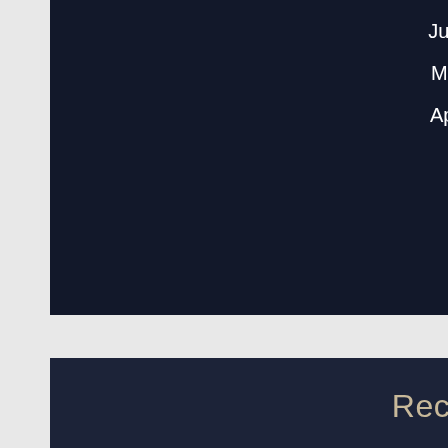June 2014 (1)
May 2014 (2)
April 2014 (2)
Recent Posts
Pre-Trial Motions
Identity Theft in Florida
Police Interrogations
Bail in Florida
What’s Next After a Criminal Conviction